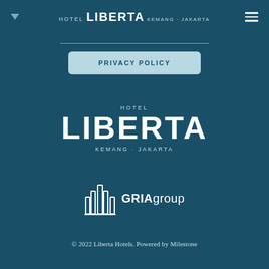[Figure (logo): Hotel Liberta Kemang Jakarta header logo with hamburger menu and dropdown arrow]
[Figure (logo): Privacy Policy button with light blue rounded rectangle background]
[Figure (logo): Hotel Liberta Kemang Jakarta center logo in white on dark teal background]
[Figure (logo): GRIA group logo with stylized building icon and text]
© 2022 Liberta Hotels. Powered by Milestone